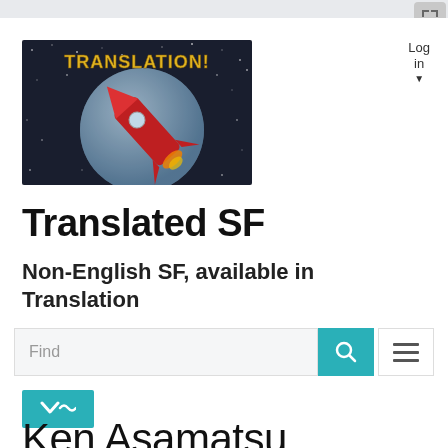[Figure (illustration): Retro sci-fi style banner image showing a red rocket ship launching past a moon with the word TRANSLATION! written in bold yellow letters, on a dark space background with stars]
Translated SF
Non-English SF, available in Translation
Find
Ken Asamatsu